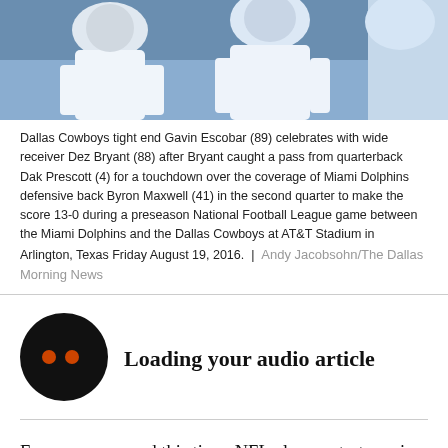[Figure (photo): Dallas Cowboys football players celebrating in white jerseys and helmets, two players visible from torso up]
Dallas Cowboys tight end Gavin Escobar (89) celebrates with wide receiver Dez Bryant (88) after Bryant caught a pass from quarterback Dak Prescott (4) for a touchdown over the coverage of Miami Dolphins defensive back Byron Maxwell (41) in the second quarter to make the score 13-0 during a preseason National Football League game between the Miami Dolphins and the Dallas Cowboys at AT&T Stadium in Arlington, Texas Friday August 19, 2016.  |  Andy Jacobsohn/The Dallas Morning News
[Figure (other): Audio article loading icon: black circle with two orange dots]
Loading your audio article
Every year around this time, NFL players start gearing up for the regular season and one of the main topics on their mind is… Madden 17 player ratings?